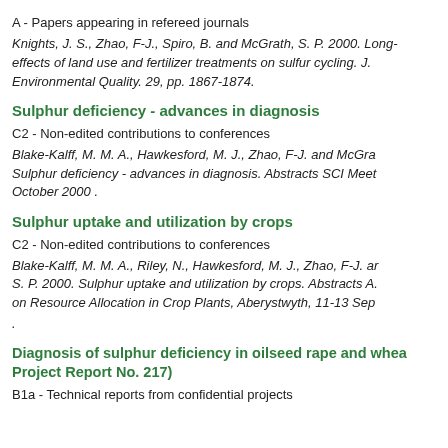A - Papers appearing in refereed journals
Knights, J. S., Zhao, F-J., Spiro, B. and McGrath, S. P. 2000. Long-term effects of land use and fertilizer treatments on sulfur cycling. J. Environmental Quality. 29, pp. 1867-1874.
Sulphur deficiency - advances in diagnosis
C2 - Non-edited contributions to conferences
Blake-Kalff, M. M. A., Hawkesford, M. J., Zhao, F-J. and McGrath, S. P. Sulphur deficiency - advances in diagnosis. Abstracts SCI Meeting, October 2000 .
Sulphur uptake and utilization by crops
C2 - Non-edited contributions to conferences
Blake-Kalff, M. M. A., Riley, N., Hawkesford, M. J., Zhao, F-J. and McGrath, S. P. 2000. Sulphur uptake and utilization by crops. Abstracts AAIC Workshop on Resource Allocation in Crop Plants, Aberystwyth, 11-13 September 2000.
.
Diagnosis of sulphur deficiency in oilseed rape and wheat (HGCA Project Report No. 217)
B1a - Technical reports from confidential projects